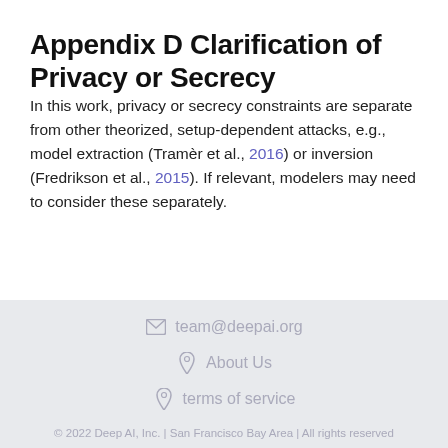Appendix D Clarification of Privacy or Secrecy
In this work, privacy or secrecy constraints are separate from other theorized, setup-dependent attacks, e.g., model extraction (Tramèr et al., 2016) or inversion (Fredrikson et al., 2015). If relevant, modelers may need to consider these separately.
team@deepai.org  About Us  terms of service  © 2022 Deep AI, Inc. | San Francisco Bay Area | All rights reserved